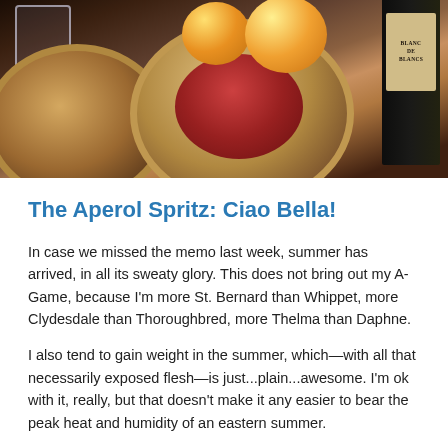[Figure (photo): Food photo showing decorative bowls with reddish food (possibly a tomato dish), oranges/citrus fruits, a wine glass, and a dark bottle with label reading 'BLANC DE BLANCS' on a dark table surface.]
The Aperol Spritz: Ciao Bella!
In case we missed the memo last week, summer has arrived, in all its sweaty glory. This does not bring out my A-Game, because I'm more St. Bernard than Whippet, more Clydesdale than Thoroughbred, more Thelma than Daphne.
I also tend to gain weight in the summer, which—with all that necessarily exposed flesh—is just...plain...awesome. I'm ok with it, really, but that doesn't make it any easier to bear the peak heat and humidity of an eastern summer.
So what do we do? We get out of the kitchen and onto the patio. And we help each other by sharing our favorite patio